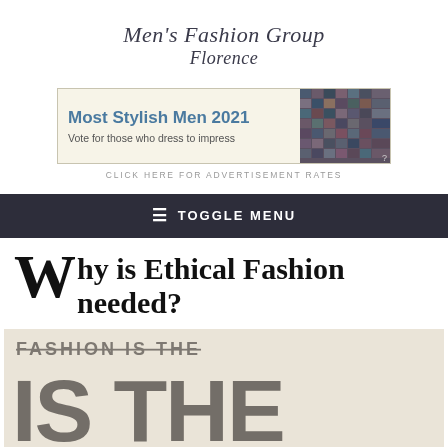Men's Fashion Group Florence
[Figure (screenshot): Advertisement banner: 'Most Stylish Men 2021 — Vote for those who dress to impress' with a mosaic of fashion photos on the right]
CLICK HERE FOR ADVERTISEMENT RATES
≡ TOGGLE MENU
Why is Ethical Fashion needed?
[Figure (photo): Large text graphic on beige background showing 'IS THE' in large bold letters with partial text above]